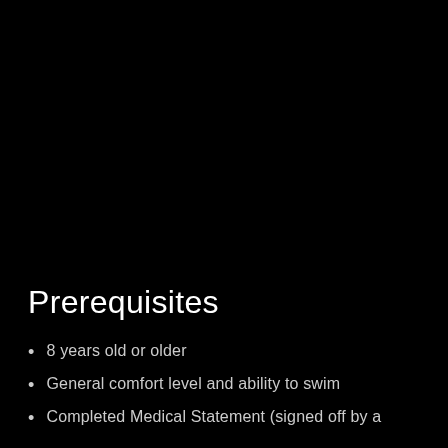Prerequisites
8 years old or older
General comfort level and ability to swim
Completed Medical Statement (signed off by a